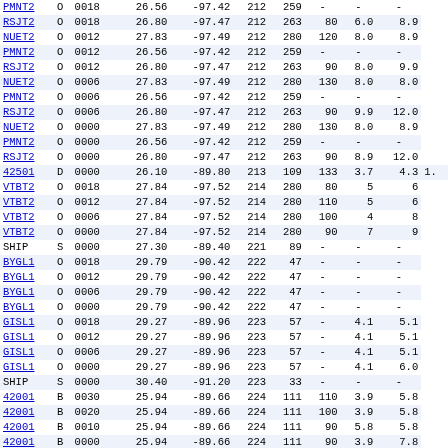| PMNT2 | O | 0018 | 26.56 | -97.42 | 212 | 259 | - | - | - |
| RSJT2 | O | 0018 | 26.80 | -97.47 | 212 | 263 | 80 | 6.0 | 8.9 |
| NUET2 | O | 0012 | 27.83 | -97.49 | 212 | 280 | 120 | 8.0 | 8.9 |
| PMNT2 | O | 0012 | 26.56 | -97.42 | 212 | 259 | - | - | - |
| RSJT2 | O | 0012 | 26.80 | -97.47 | 212 | 263 | 90 | 8.0 | 9.9 |
| NUET2 | O | 0006 | 27.83 | -97.49 | 212 | 280 | 130 | 8.0 | 8.0 |
| PMNT2 | O | 0006 | 26.56 | -97.42 | 212 | 259 | - | - | - |
| RSJT2 | O | 0006 | 26.80 | -97.47 | 212 | 263 | 90 | 9.9 | 12.0 |
| NUET2 | O | 0000 | 27.83 | -97.49 | 212 | 280 | 130 | 8.0 | 8.9 |
| PMNT2 | O | 0000 | 26.56 | -97.42 | 212 | 259 | - | - | - |
| RSJT2 | O | 0000 | 26.80 | -97.47 | 212 | 263 | 90 | 8.9 | 12.0 |
| 42501 | D | 0000 | 26.10 | -89.80 | 213 | 109 | 133 | 3.7 | 4.3 | 1. |
| VTBT2 | O | 0018 | 27.84 | -97.52 | 214 | 280 | 80 | 5 | 6 |
| VTBT2 | O | 0012 | 27.84 | -97.52 | 214 | 280 | 110 | 5 | 6 |
| VTBT2 | O | 0006 | 27.84 | -97.52 | 214 | 280 | 100 | 4 | 8 |
| VTBT2 | O | 0000 | 27.84 | -97.52 | 214 | 280 | 90 | 7 | 9 |
| SHIP | S | 0000 | 27.30 | -89.40 | 221 | 89 | - | - | - |
| BYGL1 | O | 0018 | 29.79 | -90.42 | 222 | 47 | - | - | - |
| BYGL1 | O | 0012 | 29.79 | -90.42 | 222 | 47 | - | - | - |
| BYGL1 | O | 0006 | 29.79 | -90.42 | 222 | 47 | - | - | - |
| BYGL1 | O | 0000 | 29.79 | -90.42 | 222 | 47 | - | - | - |
| GISL1 | O | 0018 | 29.27 | -89.96 | 223 | 57 | - | 4.1 | 5.1 |
| GISL1 | O | 0012 | 29.27 | -89.96 | 223 | 57 | - | 4.1 | 5.1 |
| GISL1 | O | 0006 | 29.27 | -89.96 | 223 | 57 | - | 4.1 | 5.1 |
| GISL1 | O | 0000 | 29.27 | -89.96 | 223 | 57 | - | 4.1 | 6.0 |
| SHIP | S | 0000 | 30.40 | -91.20 | 223 | 33 | - | - | - |
| 42001 | B | 0030 | 25.94 | -89.66 | 224 | 111 | 110 | 3.9 | 5.8 |
| 42001 | B | 0020 | 25.94 | -89.66 | 224 | 111 | 100 | 3.9 | 5.8 |
| 42001 | B | 0010 | 25.94 | -89.66 | 224 | 111 | 90 | 5.8 | 5.8 |
| 42001 | B | 0000 | 25.94 | -89.66 | 224 | 111 | 90 | 3.9 | 7.8 |
| SHIP | S | 0000 | 30.00 | -90.60 | 224 | 43 | - | - | - |
| 42084 | B | 0000 | 28.99 | -89.65 | 229 | 63 | - | - | - | 1. |